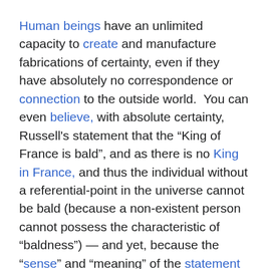Human beings have an unlimited capacity to create and manufacture fabrications of certainty, even if they have absolutely no correspondence or connection to the outside world.  You can even believe, with absolute certainty, Russell's statement that the “King of France is bald”, and as there is no King in France, and thus the individual without a referential-point in the universe cannot be bald (because a non-existent person cannot possess the characteristic of “baldness”) — and yet, because the “sense” and “meaning” of the statement can be comprehended, we can walk about the world with the fabrication of certainty without any consequences in the real world.
For Federal employees and U.S. Postal workers who suffer from a medical condition such that the medical